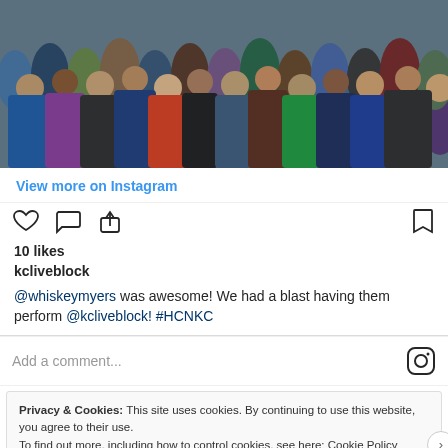[Figure (photo): Crowd of people at an outdoor event or concert, viewed from behind, densely packed.]
View more on Instagram
[Figure (infographic): Instagram action bar with heart (like), comment bubble, share icons on the left, and bookmark icon on the right.]
10 likes
kcliveblock
@whiskeymyers was awesome! We had a blast having them perform @kcliveblock! #HCNKC
Add a comment...
Privacy & Cookies: This site uses cookies. By continuing to use this website, you agree to their use.
To find out more, including how to control cookies, see here: Cookie Policy
Close and accept